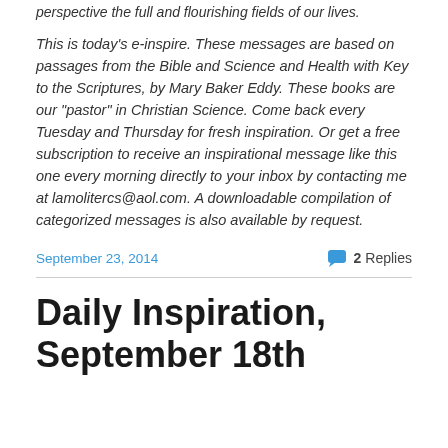perspective the full and flourishing fields of our lives.
This is today's e-inspire. These messages are based on passages from the Bible and Science and Health with Key to the Scriptures, by Mary Baker Eddy. These books are our “pastor” in Christian Science. Come back every Tuesday and Thursday for fresh inspiration. Or get a free subscription to receive an inspirational message like this one every morning directly to your inbox by contacting me at lamolitercs@aol.com. A downloadable compilation of categorized messages is also available by request.
September 23, 2014
2 Replies
Daily Inspiration, September 18th